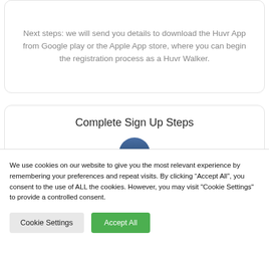Next steps: we will send you details to download the Huvr App from Google play or the Apple App store, where you can begin the registration process as a Huvr Walker.
Complete Sign Up Steps
[Figure (illustration): A circular icon with dark blue/navy background showing a list/steps symbol (1= icon) indicating step one of a sign-up process]
We use cookies on our website to give you the most relevant experience by remembering your preferences and repeat visits. By clicking “Accept All”, you consent to the use of ALL the cookies. However, you may visit "Cookie Settings" to provide a controlled consent.